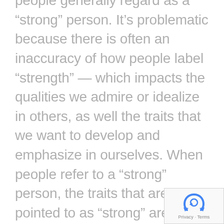people generally regard as a “strong” person. It’s problematic because there is often an inaccuracy of how people label “strength” — which impacts the qualities we admire or idealize in others, as well the traits that we want to develop and emphasize in ourselves. When people refer to a “strong” person, the traits that are being pointed to as “strong” are often closer to grandiosity, contempt, rigidity, stubbornness, aggressiveness, and desire to control others. All of these traits hold similarities to bullying.
[Figure (logo): reCAPTCHA logo with Privacy and Terms text]